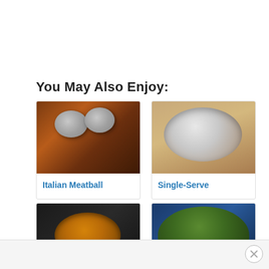You May Also Enjoy:
[Figure (photo): Italian Meatball dish in a baking pan with melted cheese on top]
Italian Meatball
[Figure (photo): Single-serve dish in a glass bowl with toppings]
Single-Serve
[Figure (photo): Bowl of soup on dark background]
[Figure (photo): Brussels sprouts or roasted vegetables on blue background]